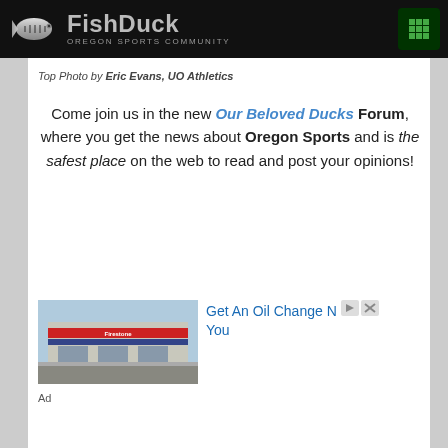FishDuck - Oregon Sports Community
Top Photo by Eric Evans, UO Athletics
Come join us in the new Our Beloved Ducks Forum, where you get the news about Oregon Sports and is the safest place on the web to read and post your opinions!
[Figure (photo): Advertisement showing a building exterior (auto service shop), with text: Get An Oil Change Near You]
Ad